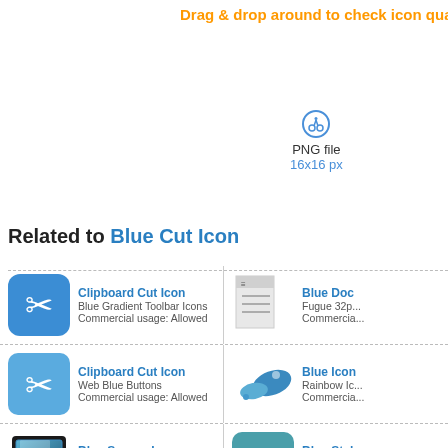Drag & drop around to check icon quality
[Figure (illustration): Blue cut/scissors icon, PNG file 16x16 px]
PNG file
16x16 px
Related to Blue Cut Icon
Clipboard Cut Icon - Blue Gradient Toolbar Icons - Commercial usage: Allowed
Blue Doc... - Fugue 32p... - Commercia...
Clipboard Cut Icon - Web Blue Buttons - Commercial usage: Allowed
Blue Icon... - Rainbow Ic... - Commercia...
Blue Square Icon - Marmalade Icons - Commercial usage: Allowed
Blue Styl... - Web Icon B... - Commercia...
Blue Download Folder Icon - Download Folder Icon - Commercial usage: Not allowed
Blue Wor... - Wordpress - Commercia...